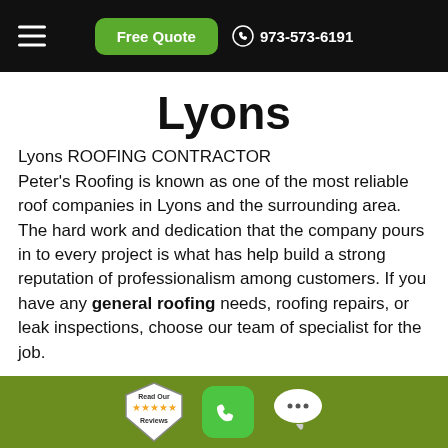Free Quote | 973-573-6191
Lyons
Lyons ROOFING CONTRACTOR
Peter's Roofing is known as one of the most reliable roof companies in Lyons and the surrounding area. The hard work and dedication that the company pours in to every project is what has help build a strong reputation of professionalism among customers. If you have any general roofing needs, roofing repairs, or leak inspections, choose our team of specialist for the job.
Read Our Reviews | Phone | Chat